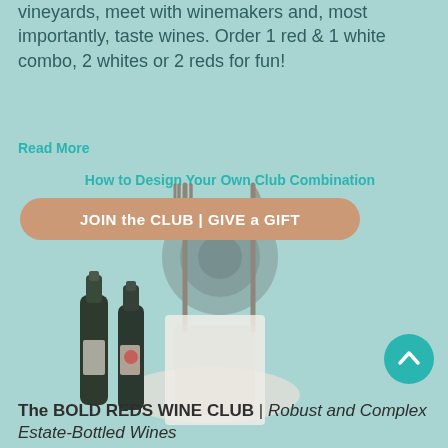vineyards, meet with winemakers and, most importantly, taste wines. Order 1 red & 1 white combo, 2 whites or 2 reds for fun!
Read More
How to Design Your Own Club Combination
[Figure (illustration): A rounded rectangular button with tan/peach background reading JOIN the CLUB | GIVE a GIFT in white bold text, overlaid with a dining place setting icon (fork, plate with ring, knife) in muted gray-brown tones]
[Figure (photo): Two dark wine bottles alongside a white box/package on a light plate or surface, against the teal background]
[Figure (other): Teal circular back-to-top button with a white upward chevron arrow]
The BOLD REDS WINE CLUB | Robust and Complex Estate-Bottled Wines